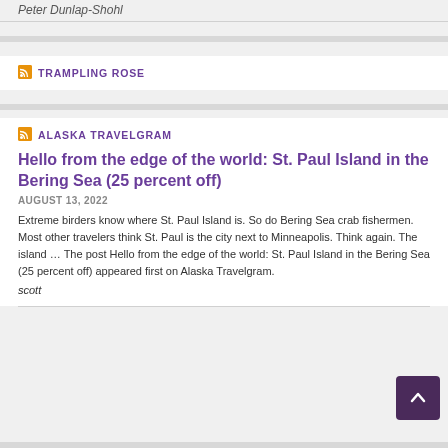Peter Dunlap-Shohl
TRAMPLING ROSE
ALASKA TRAVELGRAM
Hello from the edge of the world: St. Paul Island in the Bering Sea (25 percent off)
AUGUST 13, 2022
Extreme birders know where St. Paul Island is. So do Bering Sea crab fishermen. Most other travelers think St. Paul is the city next to Minneapolis. Think again. The island ... The post Hello from the edge of the world: St. Paul Island in the Bering Sea (25 percent off) appeared first on Alaska Travelgram.
scott